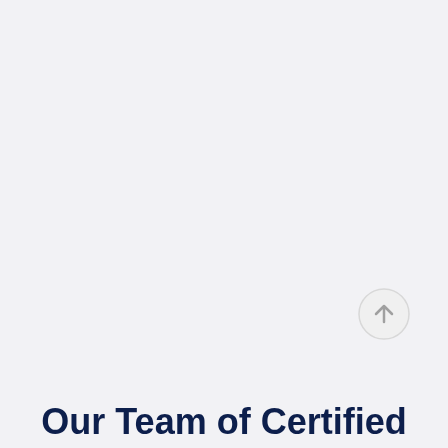[Figure (illustration): Scroll-to-top button: a circle with an upward-pointing arrow, light gray border, positioned in lower-right area]
Our Team of Certified